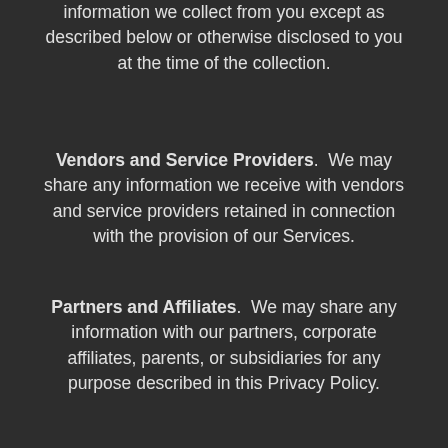information we collect from you except as described below or otherwise disclosed to you at the time of the collection.
Vendors and Service Providers.  We may share any information we receive with vendors and service providers retained in connection with the provision of our Services.
Partners and Affiliates.  We may share any information with our partners, corporate affiliates, parents, or subsidiaries for any purpose described in this Privacy Policy.
Sharing Between Users.  We facilitate the sharing of information amongst other Users, which may require the disclosure of certain information and User Content.